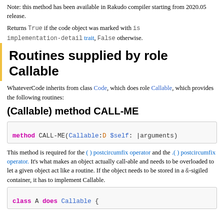Note: this method has been available in Rakudo compiler starting from 2020.05 release.
Returns True if the code object was marked with is implementation-detail trait, False otherwise.
Routines supplied by role Callable
WhateverCode inherits from class Code, which does role Callable, which provides the following routines:
(Callable) method CALL-ME
method CALL-ME(Callable:D $self: |arguments)
This method is required for the ( ) postcircumfix operator and the .( ) postcircumfix operator. It's what makes an object actually call-able and needs to be overloaded to let a given object act like a routine. If the object needs to be stored in a &-sigiled container, it has to implement Callable.
class A does Callable {